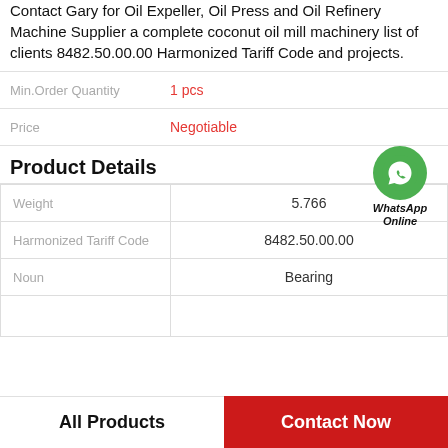Contact Gary for Oil Expeller, Oil Press and Oil Refinery Machine Supplier a complete coconut oil mill machinery list of clients 8482.50.00.00 Harmonized Tariff Code and projects.
Min.Order Quantity: 1 pcs
Price: Negotiable
Product Details
[Figure (logo): WhatsApp Online green circle badge with phone icon]
|  |  |
| --- | --- |
| Weight | 5.766 |
| Harmonized Tariff Code | 8482.50.00.00 |
| Noun | Bearing |
|  |  |
All Products
Contact Now